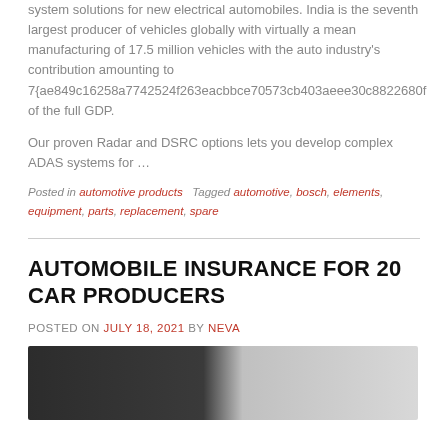system solutions for new electrical automobiles. India is the seventh largest producer of vehicles globally with virtually a mean manufacturing of 17.5 million vehicles with the auto industry's contribution amounting to 7{ae849c16258a7742524f263eacbbce70573cb403aeee30c8822680f of the full GDP.
Our proven Radar and DSRC options lets you develop complex ADAS systems for …
Posted in automotive products   Tagged automotive, bosch, elements, equipment, parts, replacement, spare
AUTOMOBILE INSURANCE FOR 20 CAR PRODUCERS
POSTED ON JULY 18, 2021 BY NEVA
[Figure (photo): A dark-toned image of a car interior or automotive equipment, partially visible at the bottom of the page.]